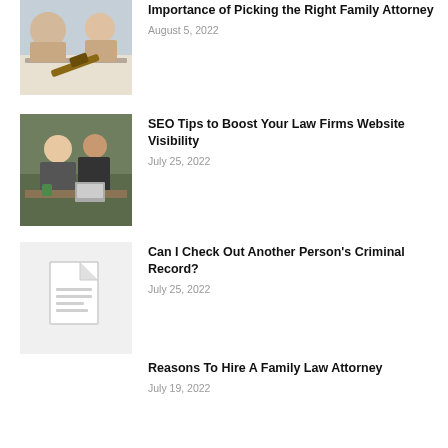[Figure (photo): Photo of people in legal setting with gavel on table]
Importance of Picking the Right Family Attorney
August 5, 2022
[Figure (photo): Photo of two lawyers working at desk]
SEO Tips to Boost Your Law Firms Website Visibility
July 25, 2022
[Figure (illustration): Document/file icon placeholder image]
Can I Check Out Another Person's Criminal Record?
July 25, 2022
Reasons To Hire A Family Law Attorney
July 19, 2022
PARTNER ROLE IN STARTING A HEALTH PRACTICE
July 9, 2022